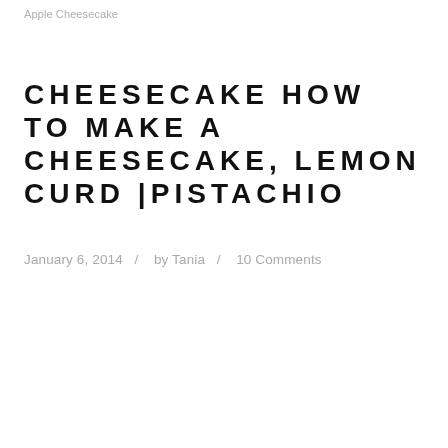Apple Cheesecake
CHEESECAKE HOW TO MAKE A CHEESECAKE, LEMON CURD |PISTACHIO
January 6, 2014  /  by Tania  /  10 Comments